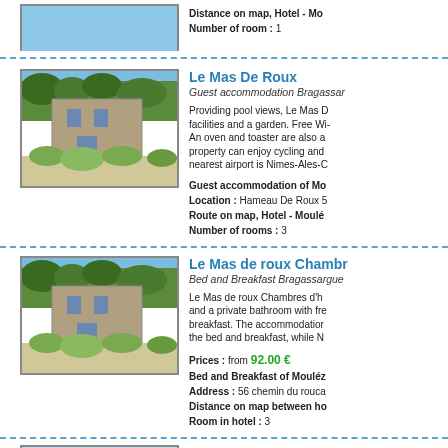Distance on map, Hotel - Mo
Number of room : 1
[Figure (photo): Exterior photo of Le Mas De Roux stone building with garden and foliage]
Le Mas De Roux
Guest accommodation Bragassar
Providing pool views, Le Mas D facilities and a garden. Free Wi- An oven and toaster are also a property can enjoy cycling and nearest airport is Nimes-Ales-C
Guest accommodation of Mo
Location : Hameau De Roux 5
Route on map, Hotel - Moulé
Number of rooms : 3
[Figure (photo): Exterior photo of Le Mas de roux Chambres stone building with garden and foliage]
Le Mas de roux Chambr
Bed and Breakfast Bragassargue
Le Mas de roux Chambres d'h and a private bathroom with fre breakfast. The accommodatior the bed and breakfast, while N
Prices : from 92.00 €
Bed and Breakfast of Mouléz
Address : 56 chemin du rouca
Distance on map between ho
Room in hotel : 3
L'Esquielle ★★★